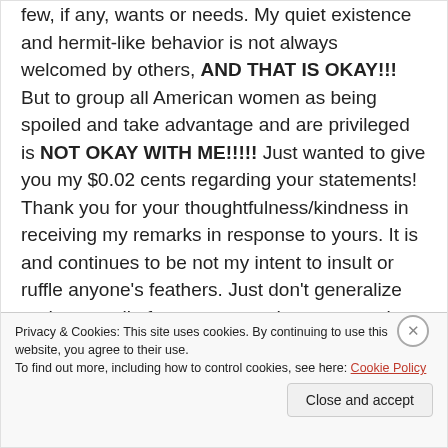few, if any, wants or needs. My quiet existence and hermit-like behavior is not always welcomed by others, AND THAT IS OKAY!!! But to group all American women as being spoiled and take advantage and are privileged is NOT OKAY WITH ME!!!!! Just wanted to give you my $0.02 cents regarding your statements! Thank you for your thoughtfulness/kindness in receiving my remarks in response to yours. It is and continues to be not my intent to insult or ruffle anyone's feathers. Just don't generalize and group all of us women and attempt to place us square parts into a round hole – all of us are different, and the world would be a better place in which to live if all of us, including the men, would/could be
Privacy & Cookies: This site uses cookies. By continuing to use this website, you agree to their use.
To find out more, including how to control cookies, see here: Cookie Policy
Close and accept